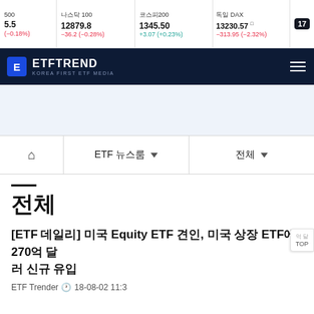S&P 500  나스닥 100  코스피200  독일 DAX  |  12879.8  −36.2 (−0.28%)  |  1345.50  +3.07 (+0.23%)  |  13230.57  −313.95 (−2.32%)
[Figure (logo): ETF Trend - Korea First ETF Media logo on dark navy background]
[Figure (other): Advertisement banner - light blue background]
ETF 뉴스룸 ▼  전체 ▼
전체
[ETF 데일리] 미국 Equity ETF 견인, 미국 상장 ETF에 270억 달러 신규 유입
ETF Trender  18-08-02 11:3...